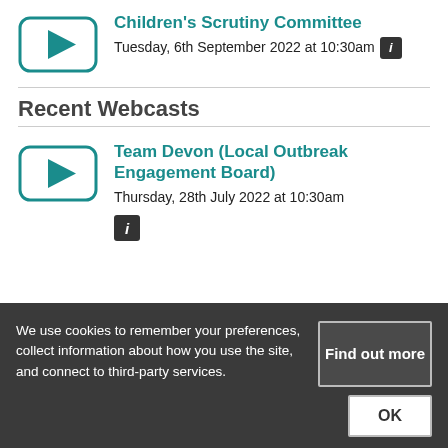[Figure (other): YouTube-style play button icon for Children's Scrutiny Committee webcast]
Children's Scrutiny Committee
Tuesday, 6th September 2022 at 10:30am [i]
Recent Webcasts
[Figure (other): YouTube-style play button icon for Team Devon webcast]
Team Devon (Local Outbreak Engagement Board)
Thursday, 28th July 2022 at 10:30am [i]
We use cookies to remember your preferences, collect information about how you use the site, and connect to third-party services.
Find out more
OK